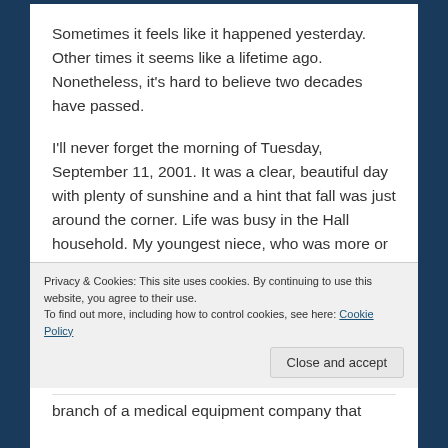Sometimes it feels like it happened yesterday. Other times it seems like a lifetime ago. Nonetheless, it's hard to believe two decades have passed.
I'll never forget the morning of Tuesday, September 11, 2001. It was a clear, beautiful day with plenty of sunshine and a hint that fall was just around the corner. Life was busy in the Hall household. My youngest niece, who was more or less living with us at the time, was getting married that weekend. She had plans to go...
Privacy & Cookies: This site uses cookies. By continuing to use this website, you agree to their use.
To find out more, including how to control cookies, see here: Cookie Policy
branch of a medical equipment company that